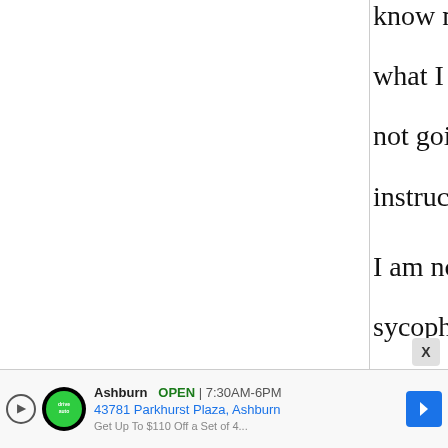know more or less what I am doing, I am not going to pay for instructions.

I am not trying to be a sycophant, but your recipes would be a good example of a database I would pay for access to. I have learned so much from you - your pictures,
[Figure (screenshot): Advertisement bar at bottom: DriveAuto Ashburn, OPEN 7:30AM-6PM, 43781 Parkhurst Plaza Ashburn, with navigation arrow icon and play/close buttons]